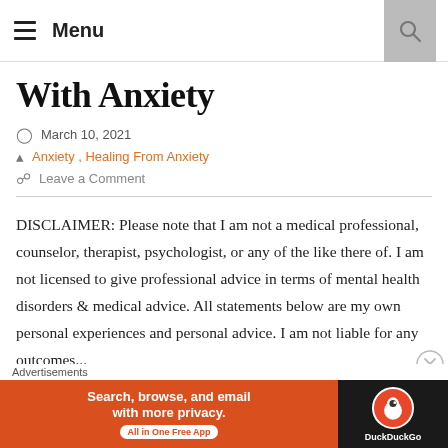Menu
With Anxiety
March 10, 2021
Anxiety, Healing From Anxiety
Leave a Comment
DISCLAIMER: Please note that I am not a medical professional, counselor, therapist, psychologist, or any of the like there of. I am not licensed to give professional advice in terms of mental health disorders & medical advice. All statements below are my own personal experiences and personal advice. I am not liable for any outcomes...
[Figure (advertisement): DuckDuckGo advertisement banner: Search, browse, and email with more privacy. All in One Free App]